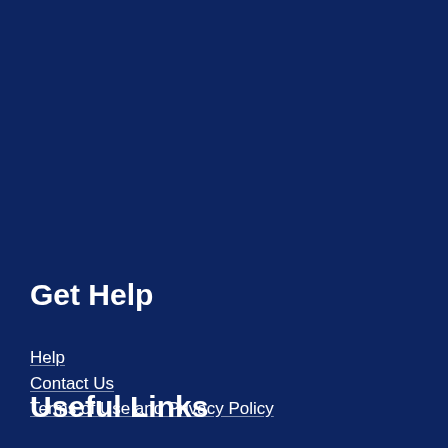Get Help
Help
Contact Us
Terms of Use and Privacy Policy
Useful Links